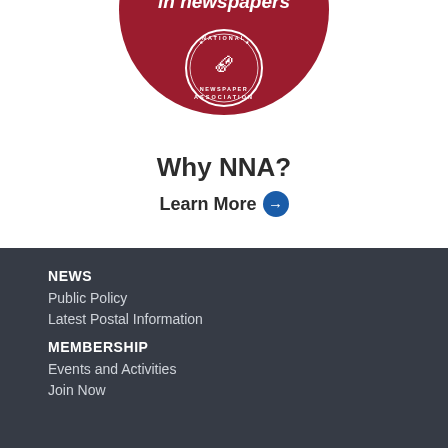[Figure (logo): National Newspaper Association circular logo on a dark red/crimson circular background with white text and illustration]
Why NNA?
Learn More →
NEWS
Public Policy
Latest Postal Information
MEMBERSHIP
Events and Activities
Join Now